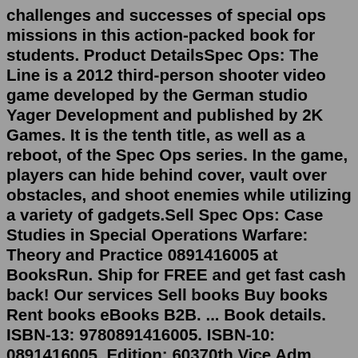challenges and successes of special ops missions in this action-packed book for students. Product DetailsSpec Ops: The Line is a 2012 third-person shooter video game developed by the German studio Yager Development and published by 2K Games. It is the tenth title, as well as a reboot, of the Spec Ops series. In the game, players can hide behind cover, vault over obstacles, and shoot enemies while utilizing a variety of gadgets.Sell Spec Ops: Case Studies in Special Operations Warfare: Theory and Practice 0891416005 at BooksRun. Ship for FREE and get fast cash back! Our services Sell books Buy books Rent books eBooks B2B. ... Book details. ISBN-13: 9780891416005. ISBN-10: 0891416005. Edition: 60370th.Vice Adm. William H. McRaven helped to devise the strategy for how to bring down Osama bin Laden, and commanded the courageous U.S. military unit that carried it out on May 1, 2011, ending one of the greatest manhunts in history. In Spec Ops, a well-organized and deeply researched study, McRaven analyzes eight classic special operations. Six are from